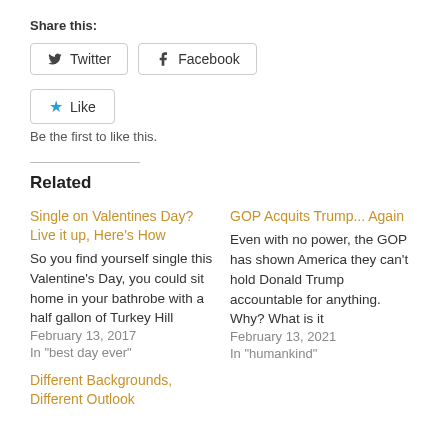Share this:
[Figure (other): Twitter and Facebook share buttons]
[Figure (other): Like button with star icon]
Be the first to like this.
Related
Single on Valentines Day? Live it up, Here's How
So you find yourself single this Valentine's Day, you could sit home in your bathrobe with a half gallon of Turkey Hill
February 13, 2017
In "best day ever"
GOP Acquits Trump... Again
Even with no power, the GOP has shown America they can't hold Donald Trump accountable for anything. Why? What is it
February 13, 2021
In "humankind"
Different Backgrounds, Different Outlook